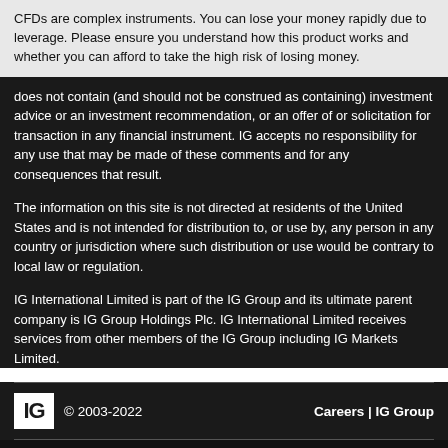CFDs are complex instruments. You can lose your money rapidly due to leverage. Please ensure you understand how this product works and whether you can afford to take the high risk of losing money.
does not contain (and should not be construed as containing) investment advice or an investment recommendation, or an offer of or solicitation for transaction in any financial instrument. IG accepts no responsibility for any use that may be made of these comments and for any consequences that result.
The information on this site is not directed at residents of the United States and is not intended for distribution to, or use by, any person in any country or jurisdiction where such distribution or use would be contrary to local law or regulation.
IG International Limited is part of the IG Group and its ultimate parent company is IG Group Holdings Plc. IG International Limited receives services from other members of the IG Group including IG Markets Limited.
IG © 2003-2022   Careers | IG Group